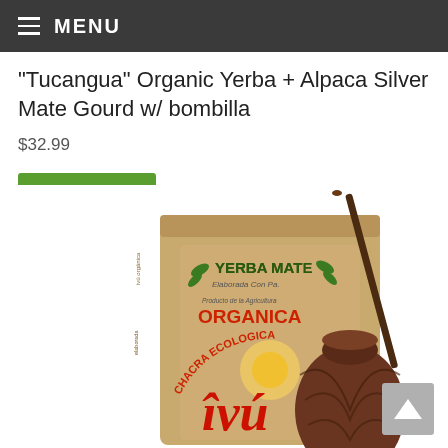MENU
"Tucangua" Organic Yerba + Alpaca Silver Mate Gourd w/ bombilla
$32.99
Read more
[Figure (photo): Product photo showing a bag of Ivu Chacra Ecologica Yerba Mate (organic, elaborada con palo) alongside a brown mate gourd with a bombilla straw inserted]